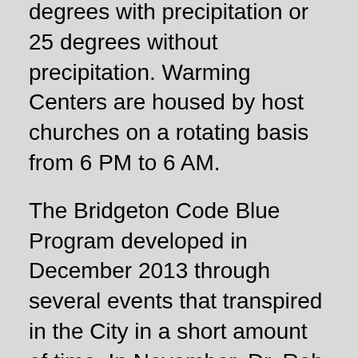A "Code Blue" is initiated when temperatures are 32 degrees with precipitation or 25 degrees without precipitation. Warming Centers are housed by host churches on a rotating basis from 6 PM to 6 AM.
The Bridgeton Code Blue Program developed in December 2013 through several events that transpired in the City in a short amount of time. In November, Dr. Rob Weinstein, Pastor of Bethany Grace Community & Chair of the Human Resource Management Program for Wilmington University, set out to experience homelessness in Bridgeton for 48-hours and then addressed his congregation as a homeless man.
Following his weekend homeless, Dr. Weinstein met with Kelly to discuss faith-based options for homelessness. During this discussion, the idea of a Code Blue program emerged. Kelly sent an email to area churches to see if they would be interested in helping and he also ordered his administration to begin researching similar initiatives. The goal was to begin a program after the first of the new